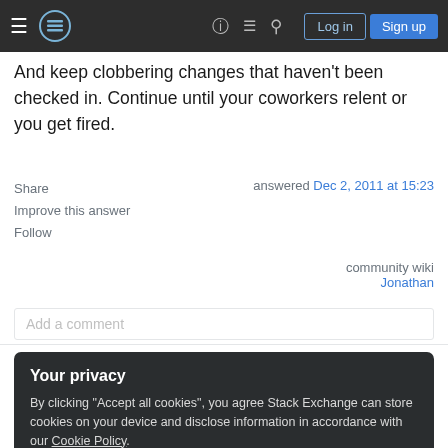[Figure (screenshot): Stack Exchange / Stack Overflow navigation bar with hamburger menu, logo, help icon, chat icon, search icon, Log in button, and Sign up button]
And keep clobbering changes that haven't been checked in. Continue until your coworkers relent or you get fired.
Share
Improve this answer
Follow
answered Dec 2, 2011 at 15:23
community wiki
Jonathan
Add a comment
Your privacy
By clicking "Accept all cookies", you agree Stack Exchange can store cookies on your device and disclose information in accordance with our Cookie Policy.
Accept all cookies
Customize settings
production (determinism). As before to the system environment built-in. Give the pairs for the big...